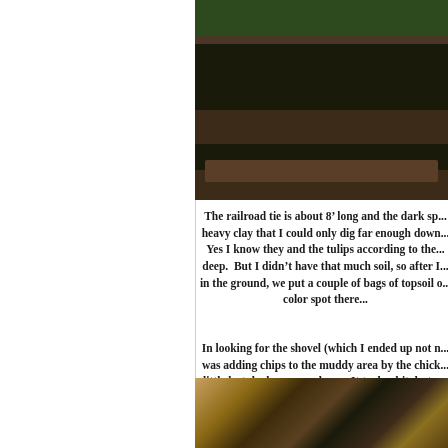[Figure (photo): Garden bed with dark soil, railroad tie border, and rocks visible]
The railroad tie is about 8’ long and the dark sp... heavy clay that I could only dig far enough down... Yes I know they and the tulips according to the... deep.  But I didn’t have that much soil, so after I... in the ground, we put a couple of bags of topsoil o... color spot there
In looking for the shovel (which I ended up not n... was adding chips to the muddy area by the chick... little lost duck answered me.   It took a bit, but v... and reunite him/her with the siblin...
[Figure (photo): Close-up photo of leaves and small animals on ground]